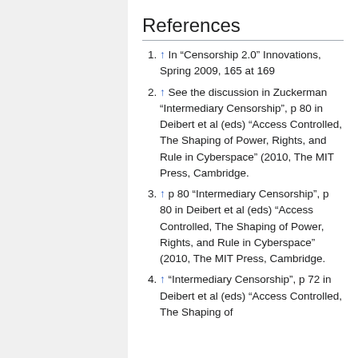References
↑ In “Censorship 2.0” Innovations, Spring 2009, 165 at 169
↑ See the discussion in Zuckerman “Intermediary Censorship”, p 80 in Deibert et al (eds) “Access Controlled, The Shaping of Power, Rights, and Rule in Cyberspace” (2010, The MIT Press, Cambridge.
↑ p 80 “Intermediary Censorship”, p 80 in Deibert et al (eds) “Access Controlled, The Shaping of Power, Rights, and Rule in Cyberspace” (2010, The MIT Press, Cambridge.
↑ “Intermediary Censorship”, p 72 in Deibert et al (eds) “Access Controlled, The Shaping of